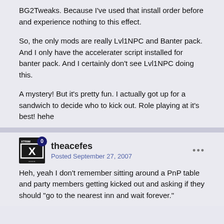BG2Tweaks. Because I've used that install order before and experience nothing to this effect.
So, the only mods are really Lvl1NPC and Banter pack. And I only have the accelerater script installed for banter pack. And I certainly don't see Lvl1NPC doing this.
A mystery! But it's pretty fun. I actually got up for a sandwich to decide who to kick out. Role playing at it's best! hehe
theacefes
Posted September 27, 2007
Heh, yeah I don't remember sitting around a PnP table and party members getting kicked out and asking if they should "go to the nearest inn and wait forever."